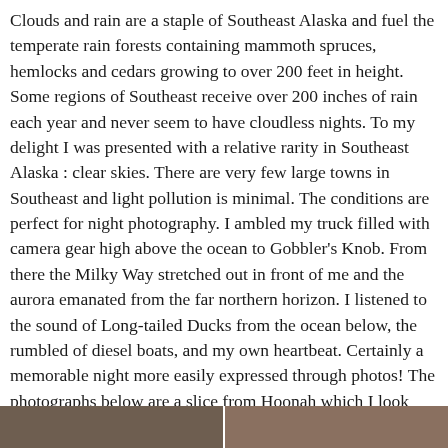Clouds and rain are a staple of Southeast Alaska and fuel the temperate rain forests containing mammoth spruces, hemlocks and cedars growing to over 200 feet in height. Some regions of Southeast receive over 200 inches of rain each year and never seem to have cloudless nights. To my delight I was presented with a relative rarity in Southeast Alaska : clear skies. There are very few large towns in Southeast and light pollution is minimal. The conditions are perfect for night photography. I ambled my truck filled with camera gear high above the ocean to Gobbler's Knob. From there the Milky Way stretched out in front of me and the aurora emanated from the far northern horizon. I listened to the sound of Long-tailed Ducks from the ocean below, the rumbled of diesel boats, and my own heartbeat. Certainly a memorable night more easily expressed through photos! The photographs below are a slice from Hoonah which I look forward to embellishing on and bringing your more of!
[Figure (photo): Bottom strip showing two partial photographs side by side]